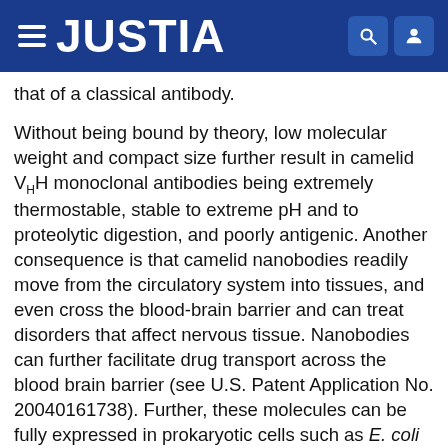JUSTIA
that of a classical antibody.
Without being bound by theory, low molecular weight and compact size further result in camelid VHH monoclonal antibodies being extremely thermostable, stable to extreme pH and to proteolytic digestion, and poorly antigenic. Another consequence is that camelid nanobodies readily move from the circulatory system into tissues, and even cross the blood-brain barrier and can treat disorders that affect nervous tissue. Nanobodies can further facilitate drug transport across the blood brain barrier (see U.S. Patent Application No. 20040161738). Further, these molecules can be fully expressed in prokaryotic cells such as E. coli and are expressed as fusion proteins with bacteriophage and are functional. Thus, the presently disclosed VHH monoclonal antibodies and antigen binding fragments